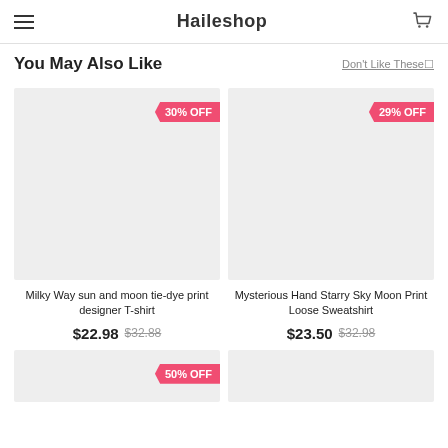Haileshop
You May Also Like
Don't Like These☐
[Figure (photo): Product image placeholder for Milky Way sun and moon tie-dye print designer T-shirt with 30% OFF badge]
Milky Way sun and moon tie-dye print designer T-shirt
$22.98  $32.88
[Figure (photo): Product image placeholder for Mysterious Hand Starry Sky Moon Print Loose Sweatshirt with 29% OFF badge]
Mysterious Hand Starry Sky Moon Print Loose Sweatshirt
$23.50  $32.98
[Figure (photo): Partial product image placeholder with 50% OFF badge]
[Figure (photo): Partial product image placeholder (right side)]